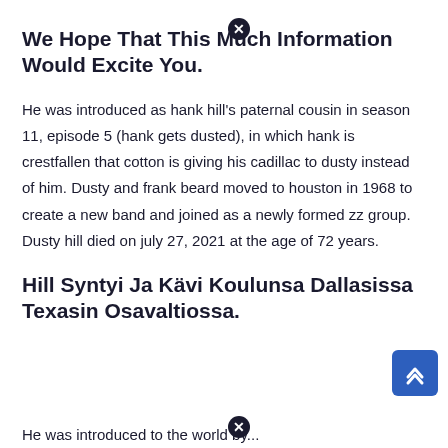We Hope That This Much Information Would Excite You.
He was introduced as hank hill's paternal cousin in season 11, episode 5 (hank gets dusted), in which hank is crestfallen that cotton is giving his cadillac to dusty instead of him. Dusty and frank beard moved to houston in 1968 to create a new band and joined as a newly formed zz group. Dusty hill died on july 27, 2021 at the age of 72 years.
Hill Syntyi Ja Kävi Koulunsa Dallasissa Texasin Osavaltiossa.
He was introduced to the world by...